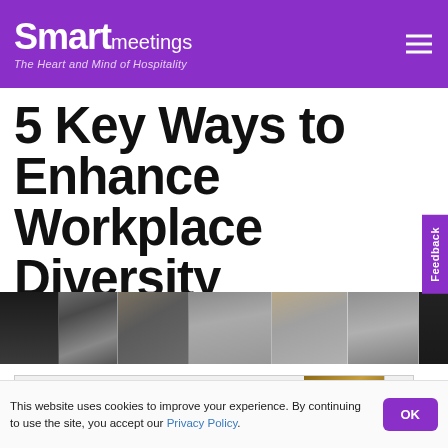Smart meetings — The Heart and Mind of Hospitality
5 Key Ways to Enhance Workplace Diversity
[Figure (photo): Photo strip showing tops of heads of diverse people]
[Figure (screenshot): Plan Group Travel advertisement banner]
This website uses cookies to improve your experience. By continuing to use the site, you accept our Privacy Policy.